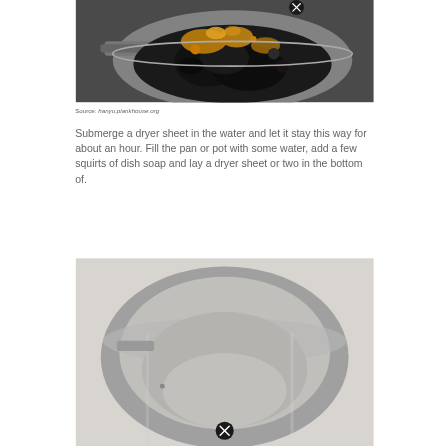[Figure (photo): A burnt pot with charred food residue, showing dark burned material inside a saucepan viewed from above. A close button (X) icon is visible at the top.]
Source: hanyu.plankhouse.org
Submerge a dryer sheet in the water and let it stay this way for about an hour. Fill the pan or pot with some water, add a few squirts of dish soap and lay a dryer sheet or two in the bottom of.
[Figure (photo): A clean stainless steel pot viewed from above at an angle, showing the empty interior. A close button (X) icon is visible at the bottom.]